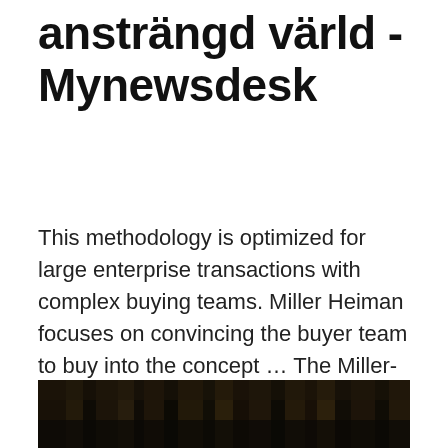ansträngd värld - Mynewsdesk
This methodology is optimized for large enterprise transactions with complex buying teams. Miller Heiman focuses on convincing the buyer team to buy into the concept … The Miller-Heiman sales process ensures that salespeople cover all aspects of buying a product or service. The methodology goes beyond one-off sales by penetrating the minds of the customer, which allows the salesperson to create and manage opportunities and managing relationships.
[Figure (photo): Dark photograph showing a forest or dark wooded scene with brown and black tones, cropped at the bottom of the page.]